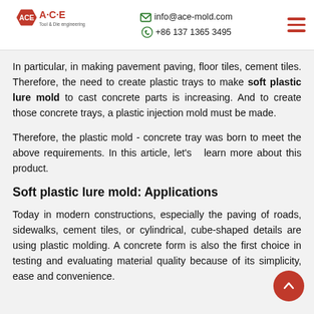A·C·E Tool & Die Engineering | info@ace-mold.com | +86 137 1365 3495
In particular, in making pavement paving, floor tiles, cement tiles. Therefore, the need to create plastic trays to make soft plastic lure mold to cast concrete parts is increasing. And to create those concrete trays, a plastic injection mold must be made.
Therefore, the plastic mold - concrete tray was born to meet the above requirements. In this article, let's   learn more about this product.
Soft plastic lure mold: Applications
Today in modern constructions, especially the paving of roads, sidewalks, cement tiles, or cylindrical, cube-shaped details are using plastic molding. A concrete form is also the first choice in testing and evaluating material quality because of its simplicity, ease and convenience.